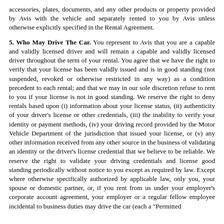accessories, plates, documents, and any other products or property provided by Avis with the vehicle and separately rented to you by Avis unless otherwise explicitly specified in the Rental Agreement.
5. Who May Drive The Car. You represent to Avis that you are a capable and validly licensed driver and will remain a capable and validly licensed driver throughout the term of your rental. You agree that we have the right to verify that your license has been validly issued and is in good standing (not suspended, revoked or otherwise restricted in any way) as a condition precedent to each rental; and that we may in our sole discretion refuse to rent to you if your license is not in good standing. We reserve the right to deny rentals based upon (i) information about your license status, (ii) authenticity of your driver's license or other credentials, (iii) the inability to verify your identity or payment methods, (iv) your driving record provided by the Motor Vehicle Department of the jurisdiction that issued your license, or (v) any other information received from any other source in the business of validating an identity or the driver's license credential that we believe to be reliable. We reserve the right to validate your driving credentials and license good standing periodically without notice to you except as required by law. Except where otherwise specifically authorized by applicable law, only you, your spouse or domestic partner, or, if you rent from us under your employer's corporate account agreement, your employer or a regular fellow employee incidental to business duties may drive the car (each a "Permitted